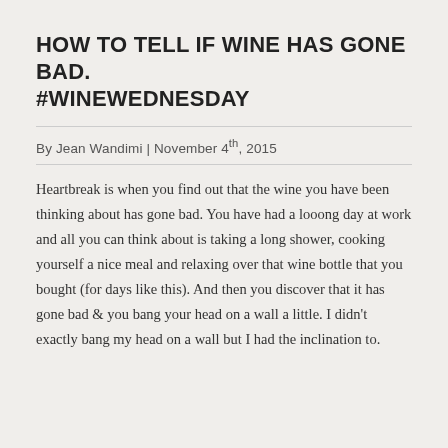HOW TO TELL IF WINE HAS GONE BAD. #WINEWEDNESDAY
By Jean Wandimi | November 4th, 2015
Heartbreak is when you find out that the wine you have been thinking about has gone bad. You have had a looong day at work and all you can think about is taking a long shower, cooking yourself a nice meal and relaxing over that wine bottle that you bought (for days like this). And then you discover that it has gone bad & you bang your head on a wall a little. I didn't exactly bang my head on a wall but I had the inclination to.